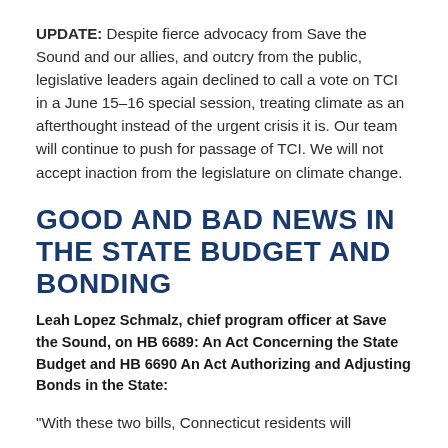UPDATE: Despite fierce advocacy from Save the Sound and our allies, and outcry from the public, legislative leaders again declined to call a vote on TCI in a June 15–16 special session, treating climate as an afterthought instead of the urgent crisis it is. Our team will continue to push for passage of TCI. We will not accept inaction from the legislature on climate change.
GOOD AND BAD NEWS IN THE STATE BUDGET AND BONDING
Leah Lopez Schmalz, chief program officer at Save the Sound, on HB 6689: An Act Concerning the State Budget and HB 6690 An Act Authorizing and Adjusting Bonds in the State:
"With these two bills, Connecticut residents will